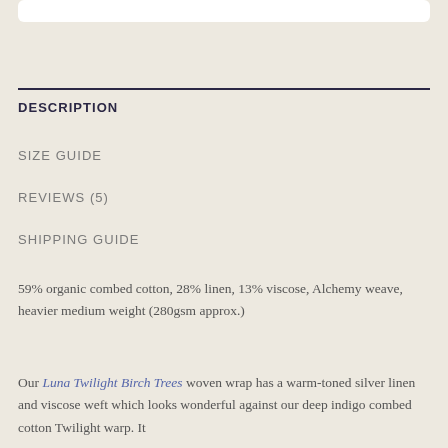DESCRIPTION
SIZE GUIDE
REVIEWS (5)
SHIPPING GUIDE
59% organic combed cotton, 28% linen, 13% viscose, Alchemy weave, heavier medium weight (280gsm approx.)
Our Luna Twilight Birch Trees woven wrap has a warm-toned silver linen and viscose weft which looks wonderful against our deep indigo combed cotton Twilight warp. It